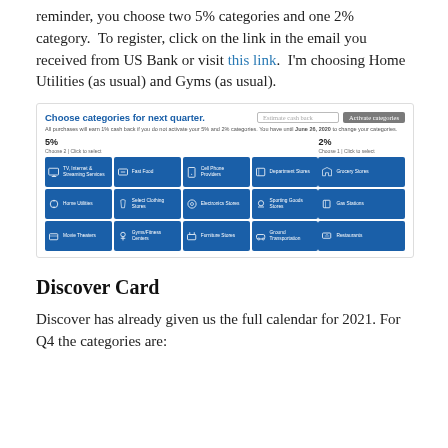reminder, you choose two 5% categories and one 2% category.  To register, click on the link in the email you received from US Bank or visit this link.  I'm choosing Home Utilities (as usual) and Gyms (as usual).
[Figure (screenshot): US Bank cash back category selection interface showing 5% and 2% categories including TV/Internet & Streaming Services, Fast Food, Cell Phone Providers, Department Stores, Home Utilities, Select Clothing Stores, Electronics Stores, Sporting Goods Stores, Movie Theaters, Gyms/Fitness Centers, Furniture Stores, Ground Transportation, Grocery Stores, Gas Stations, Restaurants]
Discover Card
Discover has already given us the full calendar for 2021. For Q4 the categories are: